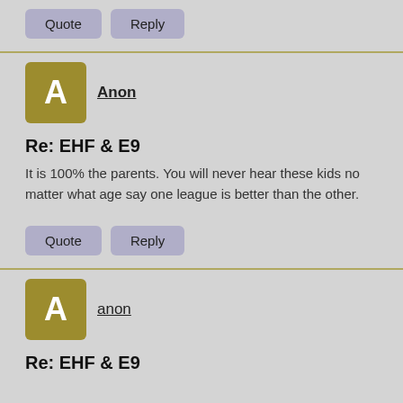Quote | Reply
Anon
Re: EHF & E9
It is 100% the parents. You will never hear these kids no matter what age say one league is better than the other.
Quote | Reply
anon
Re: EHF & E9